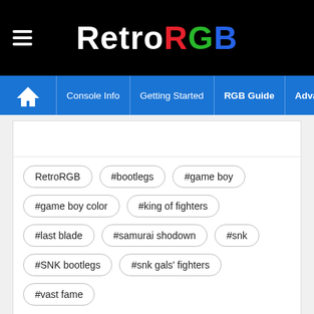RetroRGB
Console Info | Getting Started | RGB Guide | Advanced RGB Info | Ab
RetroRGB
#bootlegs
#game boy
#game boy color
#king of fighters
#last blade
#samurai shodown
#snk
#SNK bootlegs
#snk gals' fighters
#vast fame
Metal Slug 6: First Atomiswave Arcade